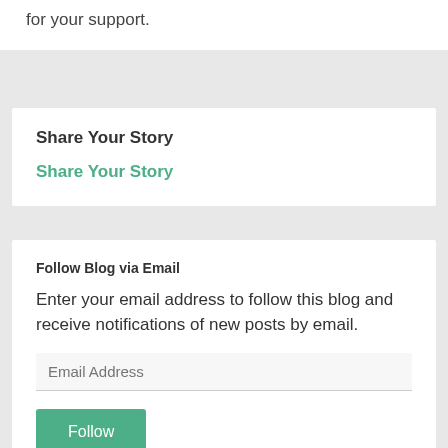for your support.
Share Your Story
Share Your Story
Follow Blog via Email
Enter your email address to follow this blog and receive notifications of new posts by email.
Email Address
Follow
Join 1,942 other followers